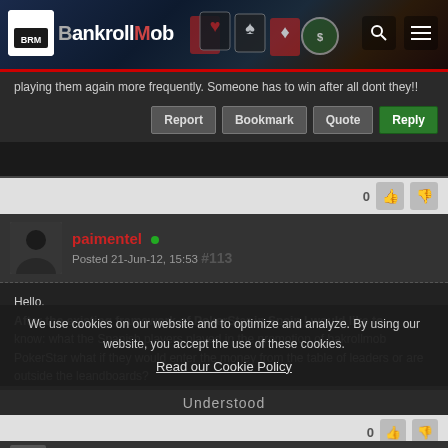[Figure (screenshot): BankrollMob website header with logo, casino card graphics, search and menu icons]
playing them again more frequently. Someone has to win after all dont they!!
Report | Bookmark | Quote | Reply
paimentel — Posted 21-Jun-12, 15:53 #113
Hello.
After the existing framework of PokerStar in Spain I would like to know: what the Spanish players played in the promotion of bakrollmob PokerStar what if they would enter the money from the table of leaders or are outside the leandboards?
Edited by paimentel (21 June 2012 @ 15:57 GMT)
Report | Bookmark | Quote | Reply
We use cookies on our website and to optimize and analyze. By using our website, you accept the use of these cookies.
Read our Cookie Policy
Understood
TREZE (author name, partially visible)